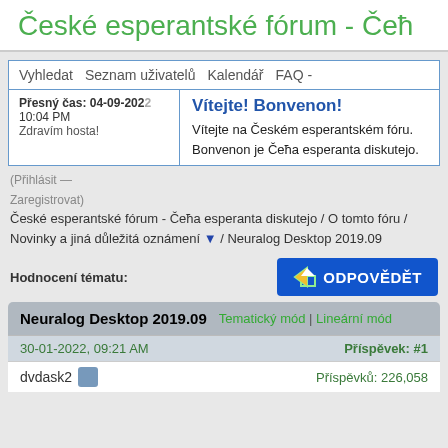České esperantské fórum - Čeħ
Vyhledat   Seznam uživatelů   Kalendář   FAQ - Nápověda
Přesný čas: 04-09-2022 10:04 PM
Zdravím hosta!
(Přihlásit — Zaregistrovat)
Vítejte! Bonvenon!
Vítejte na Českém esperantském fóru.
Bonvenon je Čeħa esperanta diskutejo.
České esperantské fórum - Čeħa esperanta diskutejo / O tomto fóru / Novinky a jiná důležitá oznámení ▼ / Neuralog Desktop 2019.09
Hodnocení tématu:
Neuralog Desktop 2019.09   Tematický mód | Lineární mód
30-01-2022, 09:21 AM   Příspěvek: #1
dvdask2   Příspěvků: 226,058